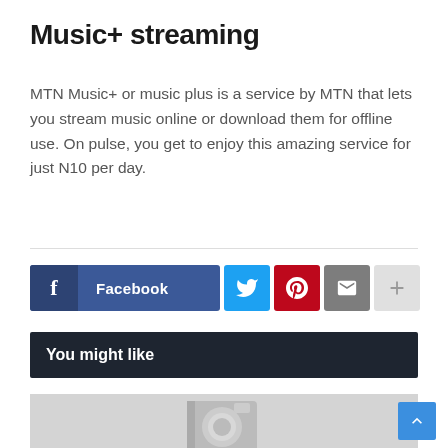Music+ streaming
MTN Music+ or music plus is a service by MTN that lets you stream music online or download them for offline use. On pulse, you get to enjoy this amazing service for just N10 per day.
[Figure (infographic): Social sharing buttons: Facebook (blue with f icon), Twitter (cyan with bird icon), Pinterest (red with P icon), Email (gray with envelope icon), More (light gray with plus icon)]
You might like
[Figure (photo): Gray placeholder image with a camera icon in the center]